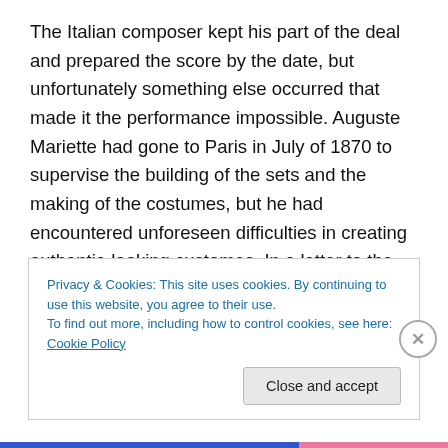The Italian composer kept his part of the deal and prepared the score by the date, but unfortunately something else occurred that made it the performance impossible. Auguste Mariette had gone to Paris in July of 1870 to supervise the building of the sets and the making of the costumes, but he had encountered unforeseen difficulties in creating authentic-looking customes. In a letter to the superintendant of the Cairo Opera, he laments: “[…] To create imaginary Egyptians as they are usually seen in the theater is not difficult, and if nothing
Privacy & Cookies: This site uses cookies. By continuing to use this website, you agree to their use.
To find out more, including how to control cookies, see here: Cookie Policy
Close and accept